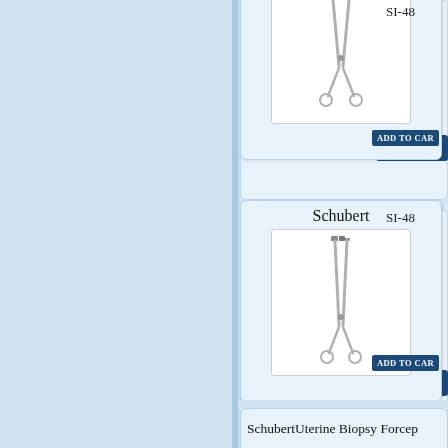[Figure (photo): Surgical forceps instrument, partial view cut at top of page, white background]
SI-48
ADD TO CART
Schubert
[Figure (photo): Schubert uterine biopsy forceps with ring handles, long shaft, white background]
SI-48
ADD TO CART
SchubertUterine Biopsy Forcep
[Figure (photo): Schubert uterine biopsy forceps with curved shaft and ring handles, white background]
SI-48
ADD TO CART
Alexander